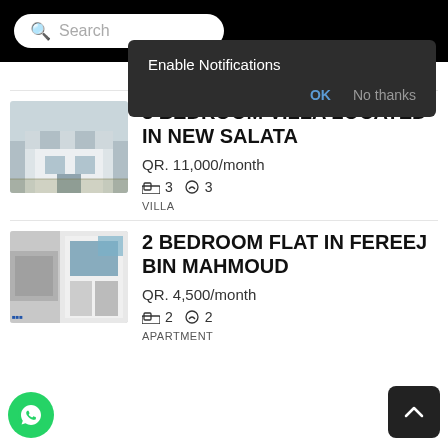[Figure (screenshot): Mobile app search bar at top with dark background]
Enable Notifications
OK   No thanks
APARTMENT
[Figure (photo): Photo of a white villa building]
3 BEDROOM VILLA LOCATED IN NEW SALATA
QR. 11,000/month
3  3
VILLA
[Figure (photo): Photo of interior of flat]
2 BEDROOM FLAT IN FEREEJ BIN MAHMOUD
QR. 4,500/month
2  2
APARTMENT